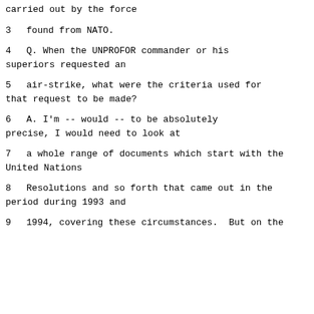carried out by the force
3      found from NATO.
4      Q.   When the UNPROFOR commander or his superiors requested an
5      air-strike, what were the criteria used for that request to be made?
6      A.   I'm -- would -- to be absolutely precise, I would need to look at
7      a whole range of documents which start with the United Nations
8      Resolutions and so forth that came out in the period during 1993 and
9      1994, covering these circumstances.  But on the